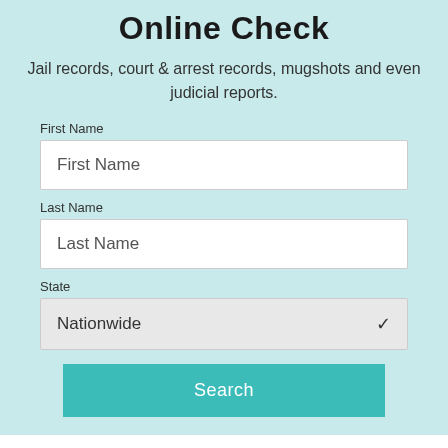Online Check
Jail records, court & arrest records, mugshots and even judicial reports.
First Name
First Name
Last Name
Last Name
State
Nationwide
Search
Visitation Hours
Visitation at the Lynch City Jail is important to inmates. This